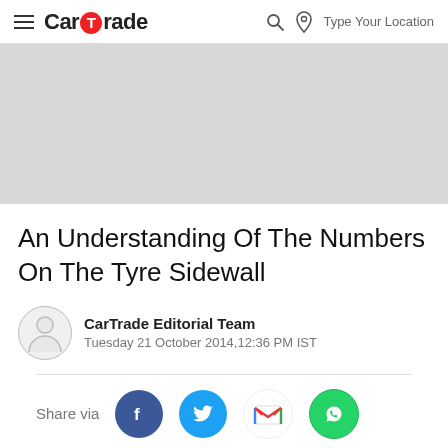CarTrade — Type Your Location
[Figure (other): Gray banner/advertisement placeholder area]
An Understanding Of The Numbers On The Tyre Sidewall
CarTrade Editorial Team
Tuesday 21 October 2014,12:36 PM IST
Share via